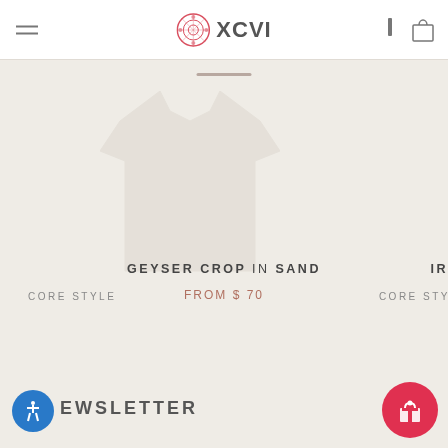XCVI
[Figure (photo): XCVI clothing brand product page showing a garment (GEYSER CROP in Sand) on a light beige background with CORE STYLE label]
CORE STYLE
CORE STY
GEYSER CROP in Sand
FROM $ 70
IR
NEWSLETTER